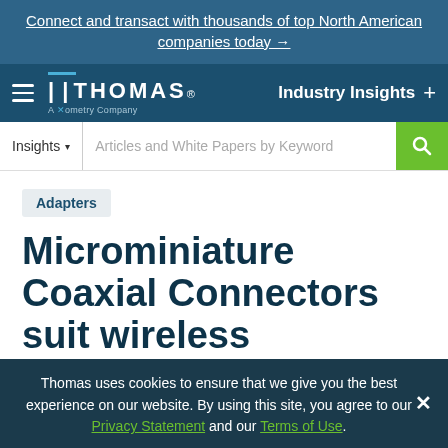Connect and transact with thousands of top North American companies today →
[Figure (logo): Thomas - A Xometry Company logo with hamburger menu and Industry Insights navigation]
Insights ▾   Articles and White Papers by Keyword
Adapters
Microminiature Coaxial Connectors suit wireless applications.
Radiall | Jun 29, 2010 |
Thomas uses cookies to ensure that we give you the best experience on our website. By using this site, you agree to our Privacy Statement and our Terms of Use.